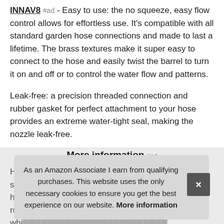INNAV8 #ad - Easy to use: the no squeeze, easy flow control allows for effortless use. It's compatible with all standard garden hose connections and made to last a lifetime. The brass textures make it super easy to connect to the hose and easily twist the barrel to turn it on and off or to control the water flow and patterns.
Leak-free: a precision threaded connection and rubber gasket for perfect attachment to your hose provides an extreme water-tight seal, making the nozzle leak-free.
More information #ad
Heavy-duty construction: this hose nozzle is made of solid high... rust... whi...
Includes an extra rubber gasket, 100% satisfaction guarantee:
As an Amazon Associate I earn from qualifying purchases. This website uses the only necessary cookies to ensure you get the best experience on our website. More information